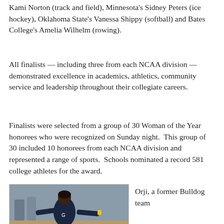Kami Norton (track and field), Minnesota's Sidney Peters (ice hockey), Oklahoma State's Vanessa Shippy (softball) and Bates College's Amelia Wilhelm (rowing).
All finalists — including three from each NCAA division — demonstrated excellence in academics, athletics, community service and leadership throughout their collegiate careers.
Finalists were selected from a group of 30 Woman of the Year honorees who were recognized on Sunday night.  This group of 30 included 10 honorees from each NCAA division and represented a range of sports.  Schools nominated a record 581 college athletes for the award.
[Figure (photo): Female athlete in dark athletic uniform with arms outstretched, appearing to compete in a track and field event indoors]
Orji, a former Bulldog team